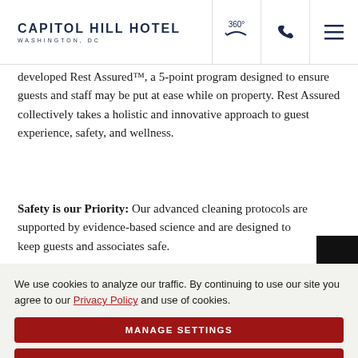CAPITOL HILL HOTEL WASHINGTON, DC
developed Rest Assured™, a 5-point program designed to ensure guests and staff may be put at ease while on property. Rest Assured collectively takes a holistic and innovative approach to guest experience, safety, and wellness.
Safety is our Priority: Our advanced cleaning protocols are supported by evidence-based science and are designed to keep guests and associates safe.
We use cookies to analyze our traffic. By continuing to use our site you agree to our Privacy Policy and use of cookies.
MANAGE SETTINGS
ACCEPT
DECLINE ALL
PRIVACY POLICY